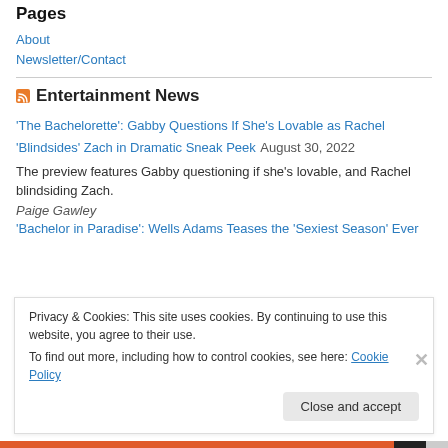Pages
About
Newsletter/Contact
Entertainment News
'The Bachelorette': Gabby Questions If She's Lovable as Rachel 'Blindsides' Zach in Dramatic Sneak Peek August 30, 2022
The preview features Gabby questioning if she's lovable, and Rachel blindsiding Zach.
Paige Gawley
'Bachelor in Paradise': Wells Adams Teases the 'Sexiest Season' Ever
Privacy & Cookies: This site uses cookies. By continuing to use this website, you agree to their use.
To find out more, including how to control cookies, see here: Cookie Policy